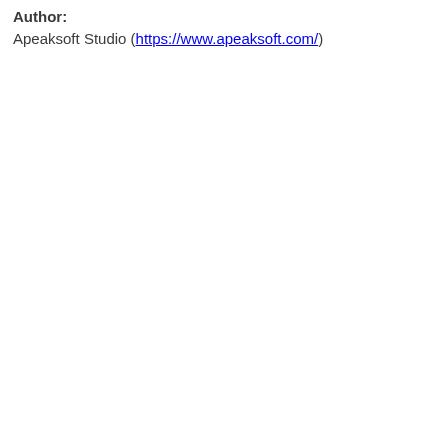Author:
Apeaksoft Studio (https://www.apeaksoft.com/)